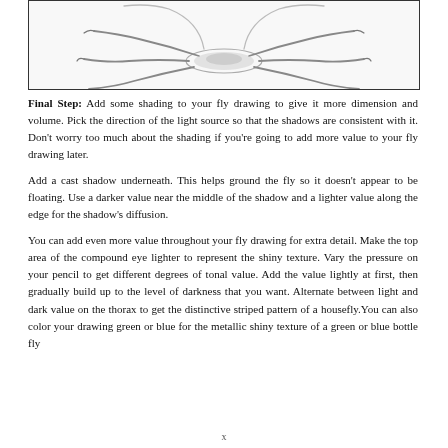[Figure (illustration): Pencil sketch illustration of a fly drawing showing legs and body parts at the top of the page, displayed within a bordered box.]
Final Step: Add some shading to your fly drawing to give it more dimension and volume. Pick the direction of the light source so that the shadows are consistent with it. Don't worry too much about the shading if you're going to add more value to your fly drawing later.
Add a cast shadow underneath. This helps ground the fly so it doesn't appear to be floating. Use a darker value near the middle of the shadow and a lighter value along the edge for the shadow's diffusion.
You can add even more value throughout your fly drawing for extra detail. Make the top area of the compound eye lighter to represent the shiny texture. Vary the pressure on your pencil to get different degrees of tonal value. Add the value lightly at first, then gradually build up to the level of darkness that you want. Alternate between light and dark value on the thorax to get the distinctive striped pattern of a housefly.You can also color your drawing green or blue for the metallic shiny texture of a green or blue bottle fly
x